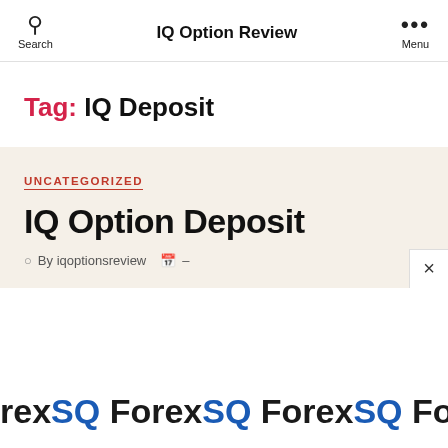IQ Option Review
Tag: IQ Deposit
UNCATEGORIZED
IQ Option Deposit
By iqoptionsreview -
rexSQ ForexSQ ForexSQ ForexSQ